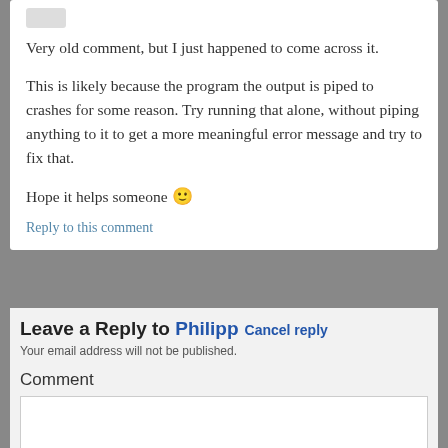Very old comment, but I just happened to come across it.
This is likely because the program the output is piped to crashes for some reason. Try running that alone, without piping anything to it to get a more meaningful error message and try to fix that.
Hope it helps someone 🙂
Reply to this comment
Leave a Reply to Philipp Cancel reply
Your email address will not be published.
Comment